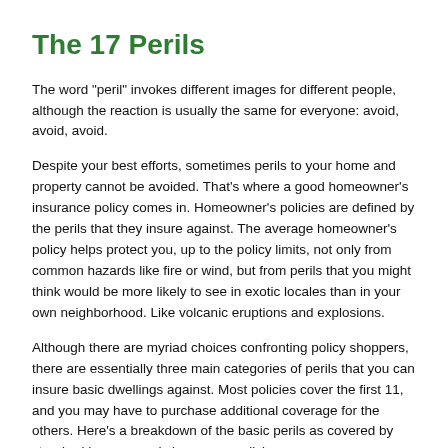The 17 Perils
The word "peril" invokes different images for different people, although the reaction is usually the same for everyone: avoid, avoid, avoid.
Despite your best efforts, sometimes perils to your home and property cannot be avoided. That's where a good homeowner's insurance policy comes in. Homeowner's policies are defined by the perils that they insure against. The average homeowner's policy helps protect you, up to the policy limits, not only from common hazards like fire or wind, but from perils that you might think would be more likely to see in exotic locales than in your own neighborhood. Like volcanic eruptions and explosions.
Although there are myriad choices confronting policy shoppers, there are essentially three main categories of perils that you can insure basic dwellings against. Most policies cover the first 11, and you may have to purchase additional coverage for the others. Here's a breakdown of the basic perils as covered by standard homeowner's insurance policies.
The 11 basic perils:
Fire and lightning